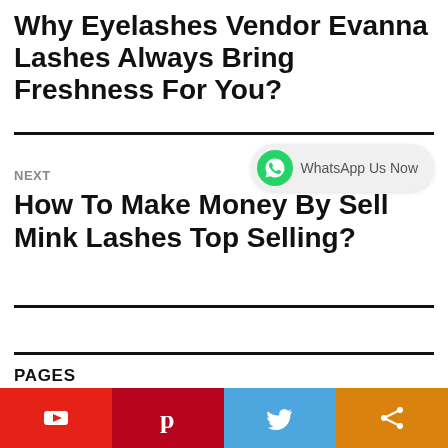Why Eyelashes Vendor Evanna Lashes Always Bring Freshness For You?
[Figure (other): WhatsApp Us Now button with WhatsApp green icon]
NEXT
How To Make Money By Sell Mink Lashes Top Selling?
PAGES
[Figure (other): Footer social media bar with YouTube, Pinterest, Twitter, and Share buttons]